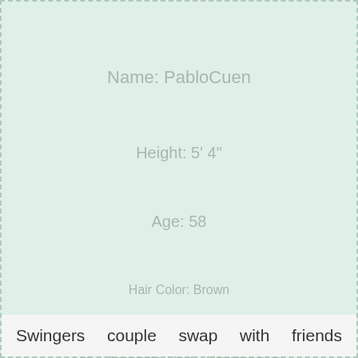Name: PabloCuen
Height: 5' 4"
Age: 58
Hair Color: Brown
City: Amanda Park, Washington
Swingers   couple   swap   with   friends